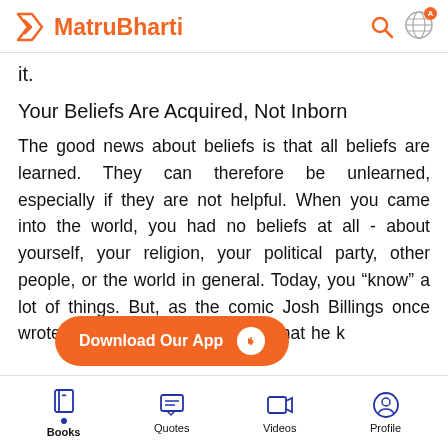MatruBharti
it.
Your Beliefs Are Acquired, Not Inborn
The good news about beliefs is that all beliefs are learned. They can therefore be unlearned, especially if they are not helpful. When you came into the world, you had no beliefs at all - about yourself, your religion, your political party, other people, or the world in general. Today, you "know" a lot of things. But, as the comic Josh Billings once wrote, "It ain't at hurts him. It's what he k
[Figure (screenshot): Download Our App orange button with arrow icon]
Books  Quotes  Videos  Profile